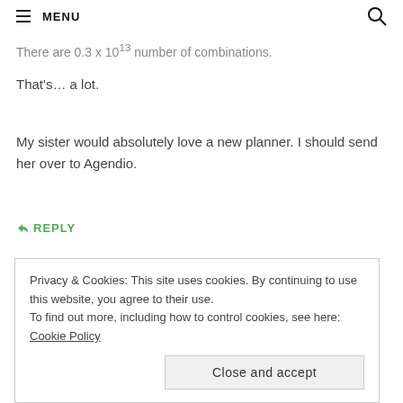MENU
There are 0.3 x 10^13 number of combinations.
That's… a lot.
My sister would absolutely love a new planner. I should send her over to Agendio.
↩ REPLY
Denise
DECEMBER 1, 2017 AT 12:23 PM
Privacy & Cookies: This site uses cookies. By continuing to use this website, you agree to their use.
To find out more, including how to control cookies, see here: Cookie Policy
Close and accept